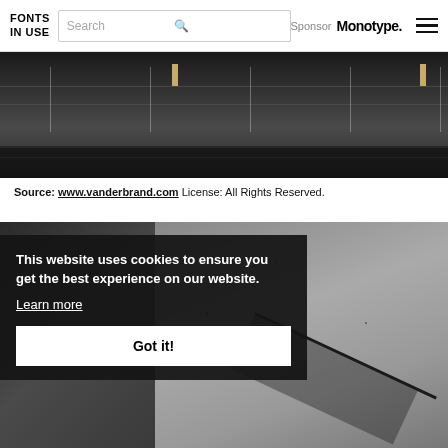FONTS IN USE | Search | Sponsor Monotype.
[Figure (photo): Aerial or elevated view of a dark interior space with railings, glass panels, and gold accent bars]
Source: www.vanderbrand.com License: All Rights Reserved.
[Figure (photo): Close-up of dark concrete column and textured concrete surface with diagonal shadow]
This website uses cookies to ensure you get the best experience on our website. Learn more
Got it!